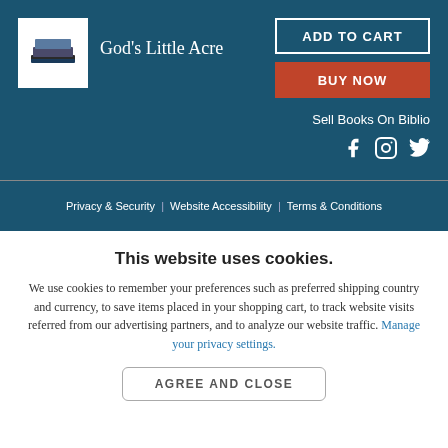God's Little Acre
ADD TO CART
BUY NOW
Sell Books On Biblio
Privacy & Security | Website Accessibility | Terms & Conditions
This website uses cookies.
We use cookies to remember your preferences such as preferred shipping country and currency, to save items placed in your shopping cart, to track website visits referred from our advertising partners, and to analyze our website traffic. Manage your privacy settings.
AGREE AND CLOSE